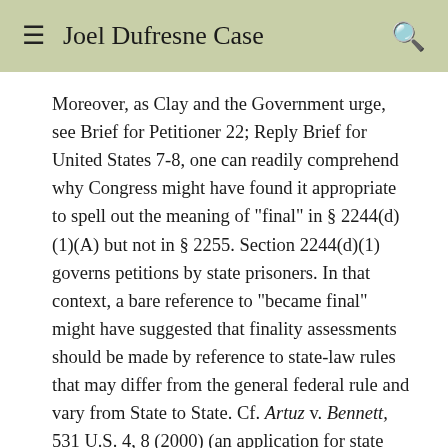Joel Dufresne Case
Moreover, as Clay and the Government urge, see Brief for Petitioner 22; Reply Brief for United States 7-8, one can readily comprehend why Congress might have found it appropriate to spell out the meaning of "final" in § 2244(d)(1)(A) but not in § 2255. Section 2244(d)(1) governs petitions by state prisoners. In that context, a bare reference to "became final" might have suggested that finality assessments should be made by reference to state-law rules that may differ from the general federal rule and vary from State to State. Cf. Artuz v. Bennett, 531 U.S. 4, 8 (2000) (an application for state postconviction relief is "properly filed" for purposes of 28 U. S. C. § 2244(d)(2) "when its delivery and acceptance are in compliance with the applicable [state] laws and rules governing filings"). The words "by the conclusion of direct review or the expiration of the time for seeking such